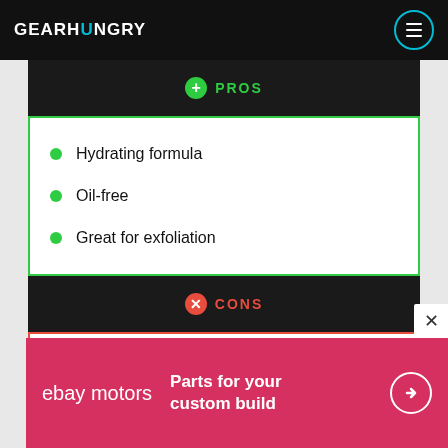GEARHUNGRY
PROS
Hydrating formula
Oil-free
Great for exfoliation
CONS
[Figure (other): eBay Motors advertisement banner: 'Parts for your custom build' with arrow button]